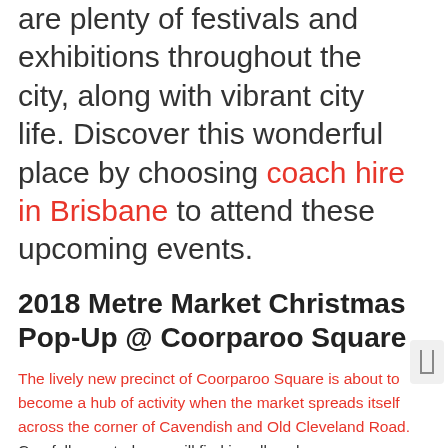are plenty of festivals and exhibitions throughout the city, along with vibrant city life. Discover this wonderful place by choosing coach hire in Brisbane to attend these upcoming events.
2018 Metre Market Christmas Pop-Up @ Coorparoo Square
The lively new precinct of Coorparoo Square is about to become a hub of activity when the market spreads itself across the corner of Cavendish and Old Cleveland Road. Carefully curated, you will find jewellery, homewares, fashion, art, music and more. In case you are looking to join the Wreath Making Workshop, you can book a ticket. You have a choice of working from either dried or fresh botanical materials. There will be amazing fibre decor for your home and